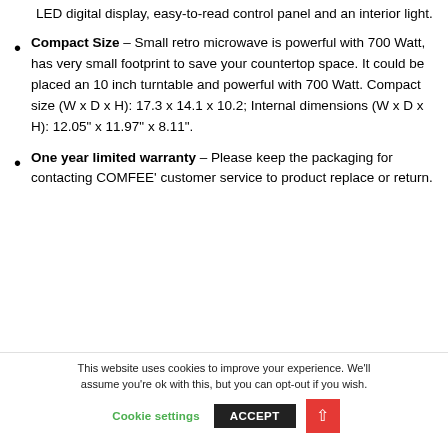LED digital display, easy-to-read control panel and an interior light.
Compact Size – Small retro microwave is powerful with 700 Watt, has very small footprint to save your countertop space. It could be placed an 10 inch turntable and powerful with 700 Watt. Compact size (W x D x H): 17.3 x 14.1 x 10.2; Internal dimensions (W x D x H): 12.05" x 11.97" x 8.11".
One year limited warranty – Please keep the packaging for contacting COMFEE’ customer service to product replace or return.
This website uses cookies to improve your experience. We’ll assume you’re ok with this, but you can opt-out if you wish.
Cookie settings  ACCEPT